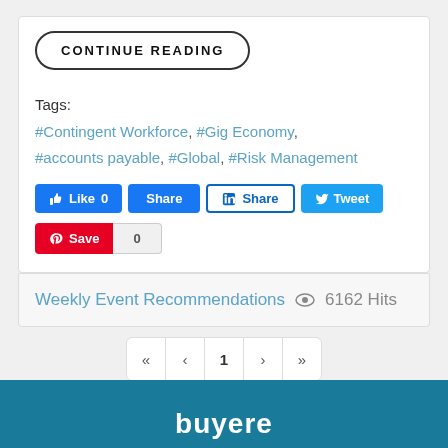CONTINUE READING
Tags:
#Contingent Workforce, #Gig Economy, #accounts payable, #Global, #Risk Management
[Figure (infographic): Social share buttons: Facebook Like 0, Facebook Share, LinkedIn Share, Twitter Tweet, Pinterest Save with count 0]
Weekly Event Recommendations  6162 Hits
[Figure (infographic): Pagination controls: first page (<<), previous (<), page 1, next (>), last (>>)]
[Figure (logo): Buyere logo in white on teal background footer]